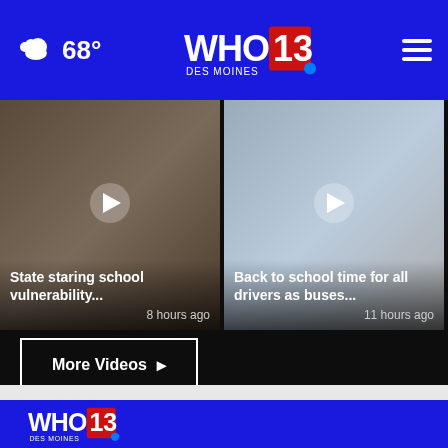68° WHO 13 Des Moines
[Figure (screenshot): Video thumbnail: State staring school vulnerability... 8 hours ago]
[Figure (screenshot): Video thumbnail: Back to school time for all drivers as buses... 11 hours ago]
[Figure (screenshot): Video thumbnail: WHO 1... (partially visible)]
More Videos ▶
[Figure (logo): WHO 13 Des Moines NBC logo in footer]